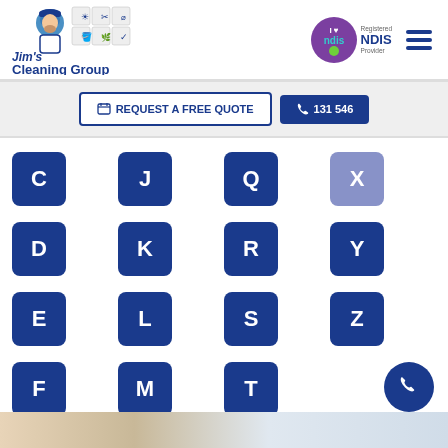[Figure (logo): Jim's Cleaning Group logo with man in cap and service icons grid]
[Figure (logo): I love NDIS - Registered NDIS Provider badge]
[Figure (infographic): Hamburger menu icon (three horizontal bars)]
📅 REQUEST A FREE QUOTE
📞 131 546
C D E F G J K L M N Q R S T U X Y Z
[Figure (photo): Partial photo visible at bottom of page showing cleaning scene]